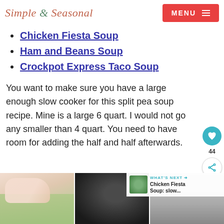Simple & Seasonal
Chicken Fiesta Soup
Ham and Beans Soup
Crockpot Express Taco Soup
You want to make sure you have a large enough slow cooker for this split pea soup recipe. Mine is a large 6 quart. I would not go any smaller than 4 quart. You need to have room for adding the half and half afterwards.
[Figure (photo): Three photos at bottom showing hands with split peas, a dark slow cooker pot, and another cooking image. A 'What's Next' overlay shows a thumbnail and text 'Chicken Fiesta Soup: slow...']